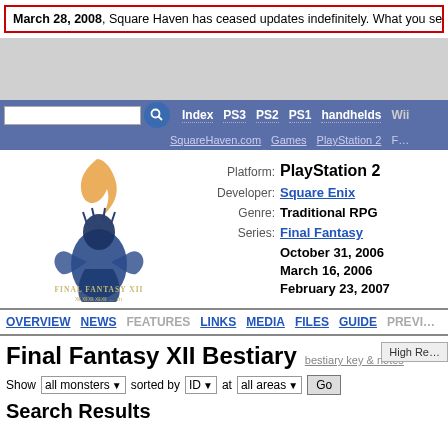March 28, 2008, Square Haven has ceased updates indefinitely. What you see below is an a…
[Figure (screenshot): Grey advertisement bar placeholder]
Index  PS3  PS2  PS1  handhelds  Wii  | SquareHaven.com  Games  PlayStation 2  F…
[Figure (logo): Final Fantasy XII game cover logo artwork showing armored character with orange and blue color scheme]
Platform: PlayStation 2
Developer: Square Enix
Genre: Traditional RPG
Series: Final Fantasy
October 31, 2006
March 16, 2006
February 23, 2007
OVERVIEW  NEWS  FEATURES  LINKS  MEDIA  FILES  GUIDE  PREVI…
Final Fantasy XII Bestiary
bestiary key & notes
Show all monsters sorted by ID at all areas Go
Search Results